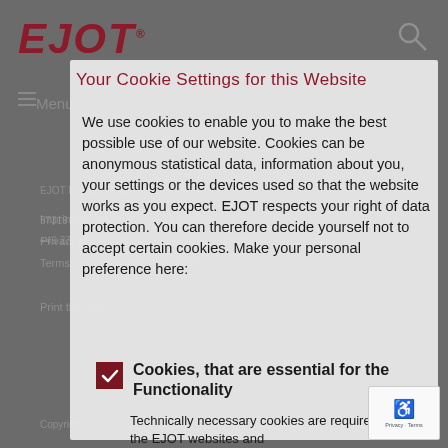[Figure (screenshot): EJOT website screenshot in background, dimmed/grayed out, showing logo, navigation menu, address information, footer links and copyright]
Your Cookie Settings for this Website
We use cookies to enable you to make the best possible use of our website. Cookies can be anonymous statistical data, information about you, your settings or the devices used so that the website works as you expect. EJOT respects your right of data protection. You can therefore decide yourself not to accept certain cookies. Make your personal preference here:
Cookies, that are essential for the Functionality
Technically necessary cookies are required so that the EJOT websites and